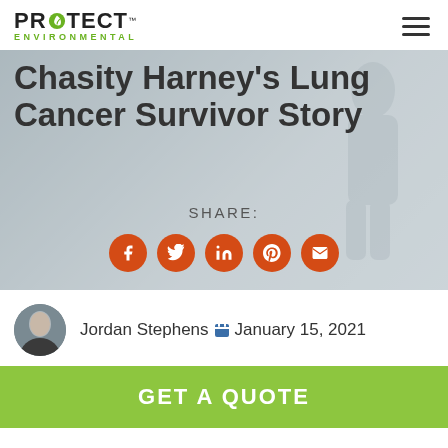PROTECT ENVIRONMENTAL
Chasity Harney's Lung Cancer Survivor Story
SHARE:
[Figure (infographic): Five orange circular social share buttons: Facebook, Twitter, LinkedIn, Pinterest, Email]
Jordan Stephens  January 15, 2021
GET A QUOTE